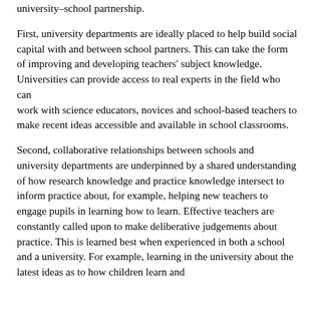university–school partnership.
First, university departments are ideally placed to help build social capital with and between school partners. This can take the form of improving and developing teachers' subject knowledge. Universities can provide access to real experts in the field who can work with science educators, novices and school-based teachers to make recent ideas accessible and available in school classrooms.
Second, collaborative relationships between schools and university departments are underpinned by a shared understanding of how research knowledge and practice knowledge intersect to inform practice about, for example, helping new teachers to engage pupils in learning how to learn. Effective teachers are constantly called upon to make deliberative judgements about practice. This is learned best when experienced in both a school and a university. For example, learning in the university about the latest ideas as to how children learn and